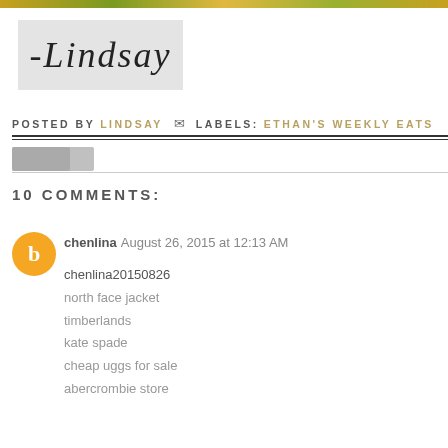[Figure (illustration): Decorative top color bar with golden-green gradient]
[Figure (illustration): Blog signature image showing '-Lindsay' in cursive script on light grey background]
POSTED BY LINDSAY ✉ LABELS: ETHAN'S WEEKLY EATS
10 COMMENTS:
chenlina August 26, 2015 at 12:13 AM
chenlina20150826
north face jacket
timberlands
kate spade
cheap uggs for sale
abercrombie store